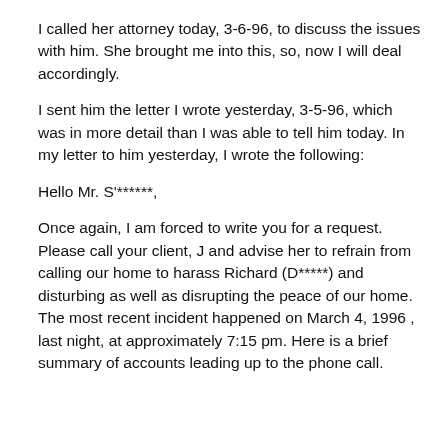I called her attorney today, 3-6-96, to discuss the issues with him. She brought me into this, so, now I will deal accordingly.
I sent him the letter I wrote yesterday, 3-5-96, which was in more detail than I was able to tell him today. In my letter to him yesterday, I wrote the following:
Hello Mr. S'******,
Once again, I am forced to write you for a request. Please call your client, J and advise her to refrain from calling our home to harass Richard (D*****) and disturbing as well as disrupting the peace of our home. The most recent incident happened on March 4, 1996 , last night, at approximately 7:15 pm. Here is a brief summary of accounts leading up to the phone call.